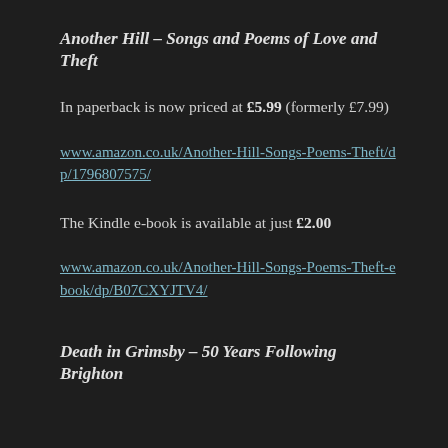Another Hill – Songs and Poems of Love and Theft
In paperback is now priced at £5.99 (formerly £7.99)
www.amazon.co.uk/Another-Hill-Songs-Poems-Theft/dp/1796807575/
The Kindle e-book is available at just £2.00
www.amazon.co.uk/Another-Hill-Songs-Poems-Theft-ebook/dp/B07CXYJTV4/
Death in Grimsby – 50 Years Following Brighton